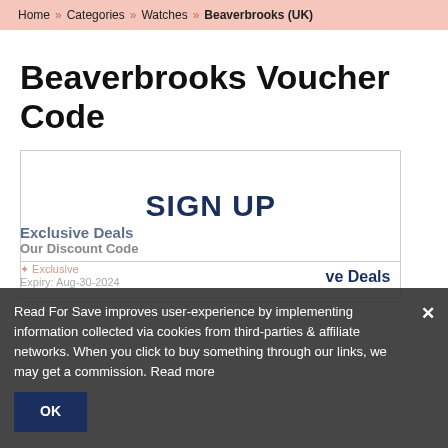Home » Categories » Watches » Beaverbrooks (UK)
Beaverbrooks Voucher Code
[Figure (other): Sign up box with text SIGN UP in dark navy bold uppercase letters, bordered rectangle]
Exclusive Deals
Our Discount Code
Exclusive
Expiry: Aug-30-2024
Read For Save improves user-experience by implementing information collected via cookies from third-parties & affiliate networks. When you click to buy something through our links, we may get a commission. Read more
OK